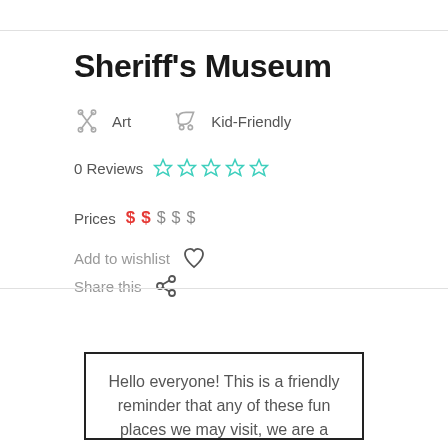Sheriff's Museum
Art  Kid-Friendly
0 Reviews ☆☆☆☆☆
Prices $ $ $ $ $
Add to wishlist ♡
Share this
Hello everyone! This is a friendly reminder that any of these fun places we may visit, we are a